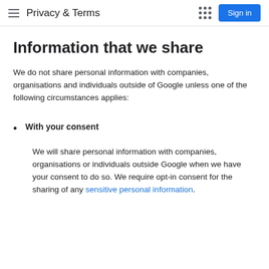Privacy & Terms
Information that we share
We do not share personal information with companies, organisations and individuals outside of Google unless one of the following circumstances applies:
With your consent
We will share personal information with companies, organisations or individuals outside Google when we have your consent to do so. We require opt-in consent for the sharing of any sensitive personal information.